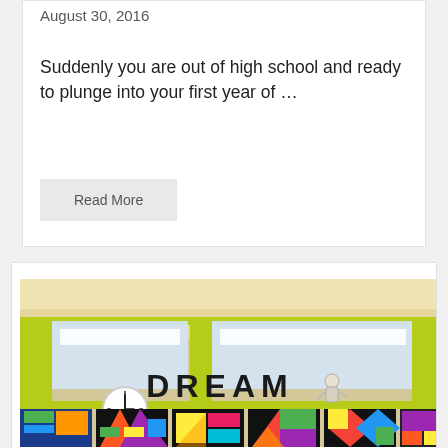August 30, 2016
Suddenly you are out of high school and ready to plunge into your first year of …
Read More
[Figure (photo): Classroom wall with lime green accents, fluorescent lights, word DREAM displayed, colorful student artwork framed below, and a clock on the wall]